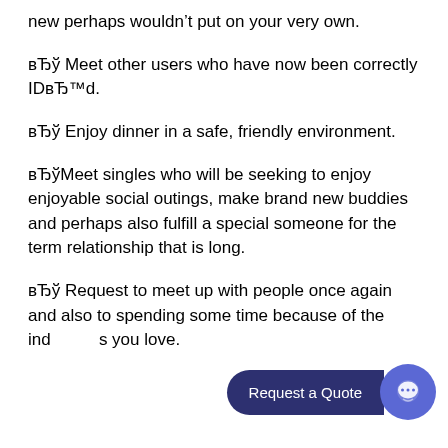new perhaps wouldn’t put on your very own.
вЂў Meet other users who have now been correctly IDвЂ™d.
вЂў Enjoy dinner in a safe, friendly environment.
вЂўMeet singles who will be seeking to enjoy enjoyable social outings, make brand new buddies and perhaps also fulfill a special someone for the term relationship that is long.
вЂў Request to meet up with people once again and also to spending some time because of the individuals you love.